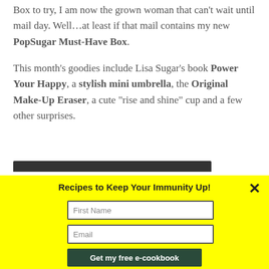Box to try, I am now the grown woman that can't wait until mail day. Well…at least if that mail contains my new PopSugar Must-Have Box.
This month's goodies include Lisa Sugar's book Power Your Happy, a stylish mini umbrella, the Original Make-Up Eraser, a cute "rise and shine" cup and a few other surprises.
[Figure (screenshot): Dark banner bar at the top of a popup overlay]
Recipes to Keep Your Immunity Up!
First Name
Email
Get my free e-cookbook